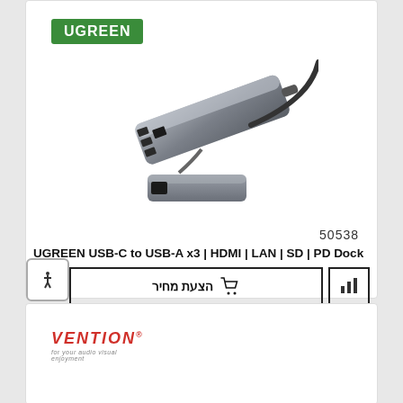[Figure (logo): UGREEN brand logo, green background with white text]
[Figure (photo): UGREEN USB-C hub product photo showing a silver/grey metal hub with multiple ports and a USB-C cable]
50538
UGREEN USB-C to USB-A x3 | HDMI | LAN | SD | PD Dock
הצעת מחיר
[Figure (logo): Vention brand logo in red italic text with tagline 'for your audio visual enjoyment']